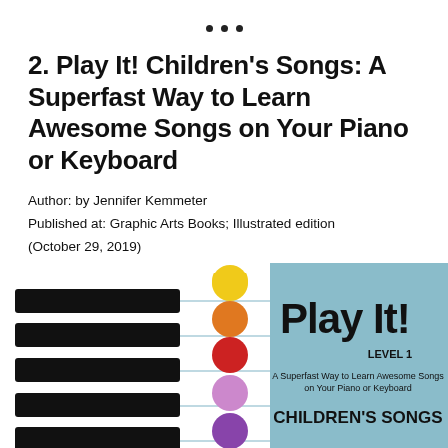• • •
2. Play It! Children's Songs: A Superfast Way to Learn Awesome Songs on Your Piano or Keyboard
Author: by Jennifer Kemmeter
Published at: Graphic Arts Books; Illustrated edition (October 29, 2019)
ISBN: 978-1513262451
[Figure (photo): Book cover of 'Play It! Children's Songs Level 1 - A Superfast Way to Learn Awesome Songs on Your Piano or Keyboard' with colorful musical note dots on piano keys on the left and a light blue cover with bold black text on the right.]